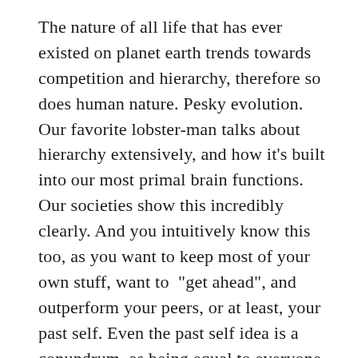The nature of all life that has ever existed on planet earth trends towards competition and hierarchy, therefore so does human nature. Pesky evolution. Our favorite lobster-man talks about hierarchy extensively, and how it's built into our most primal brain functions. Our societies show this incredibly clearly. And you intuitively know this too, as you want to keep most of your own stuff, want to "get ahead", and outperform your peers, or at least, your past self. Even the past self idea is a conundrum, as being equal to everyone else, any sort of meaningful progress will be scarce, as such progress must be distributed equally. Such wide distribution will make any potential